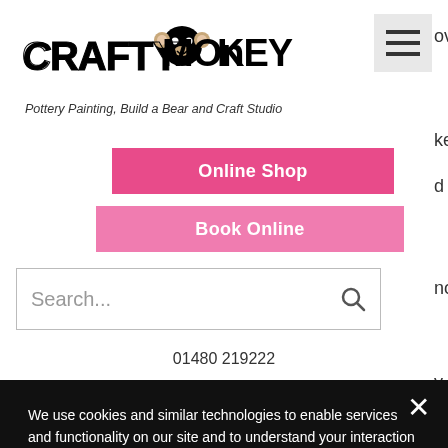[Figure (logo): Crafty Monkey logo with bold stylized text and monkey face icon]
Pottery Painting, Build a Bear and Craft Studio
Online Shop
Book Online
Search...
01480 219222
We use cookies and similar technologies to enable services and functionality on our site and to understand your interaction with our service. By clicking on accept, you agree to our use of such technologies for marketing and analytics. See Privacy Policy
Decline All
Accept
Cookie Settings